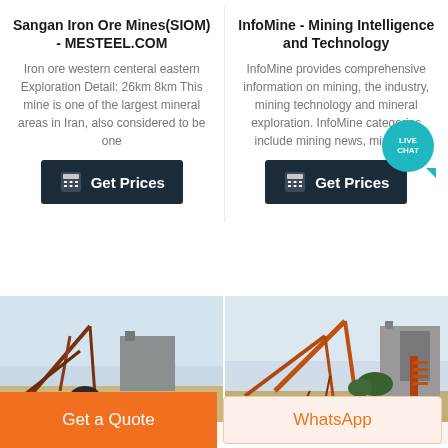Sangan Iron Ore Mines(SIOM) - MESTEEL.COM
Iron ore western centeral eastern Exploration Detail: 26km 8km This mine is one of the largest mineral areas in Iran, also considered to be one
[Figure (other): Dark navy Get Prices button with calculator icon]
InfoMine - Mining Intelligence and Technology
InfoMine provides comprehensive information on mining, the industry, mining technology and mineral exploration. InfoMine categories include mining news, mining ...
[Figure (other): Dark navy Get Prices button with calculator icon]
[Figure (photo): Mining site with heavy equipment, conveyor belts, industrial structures against a light sky]
[Figure (photo): Mining site with orange/red heavy equipment, conveyor belts, industrial structures]
[Figure (other): Live Chat circular teal bubble badge with tail]
Get a Quote
WhatsApp